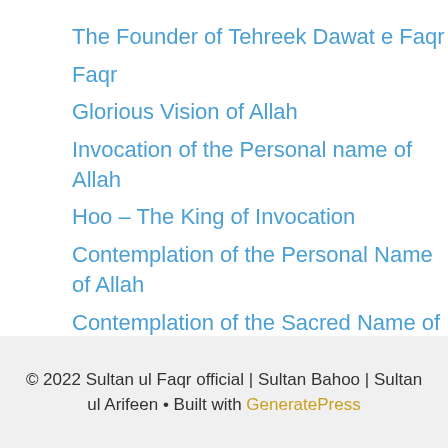The Founder of Tehreek Dawat e Faqr
Faqr
Glorious Vision of Allah
Invocation of the Personal name of Allah
Hoo – The King of Invocation
Contemplation of the Personal Name of Allah
Contemplation of the Sacred Name of Mohammad
The Perfect Spiritual Guide
© 2022 Sultan ul Faqr official | Sultan Bahoo | Sultan ul Arifeen • Built with GeneratePress